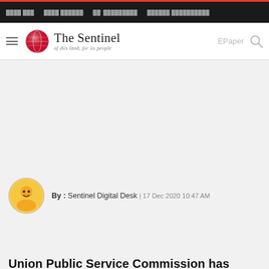navigation bar with links
[Figure (logo): The Sentinel newspaper logo with tagline 'of this land, for its people']
[Figure (photo): Advertisement banner placeholder area]
By : Sentinel Digital Desk | 17 Dec 2020 10:47 AM
Union Public Service Commission has invited